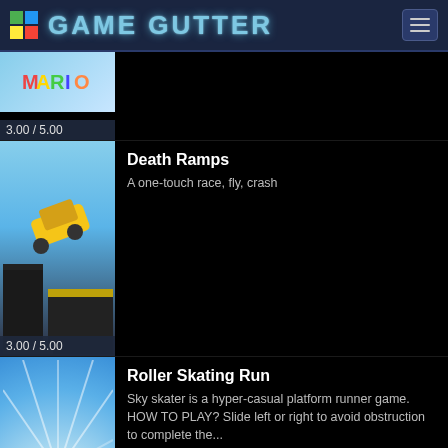GAME GUTTER
3.00 / 5.00
Death Ramps
A one-touch race, fly, crash
3.00 / 5.00
Roller Skating Run
Sky skater is a hyper-casual platform runner game. HOW TO PLAY? Slide left or right to avoid obstruction to complete the...
3.00 / 5.00
The Wall Breaker
Just play it to relax your brain. Be focus on breaking wall breaker and you will find it more funny and exciting! Smash the...